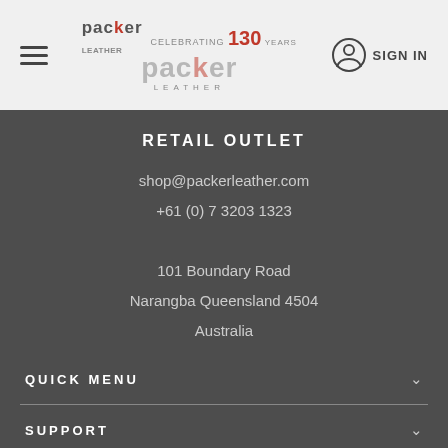[Figure (logo): Packer Leather logo with 'Celebrating 130 Years' text in header navigation bar]
RETAIL OUTLET
shop@packerleather.com
+61 (0) 7 3203 1323
101 Boundary Road
Narangba Queensland 4504
Australia
QUICK MENU
SUPPORT
SHOP